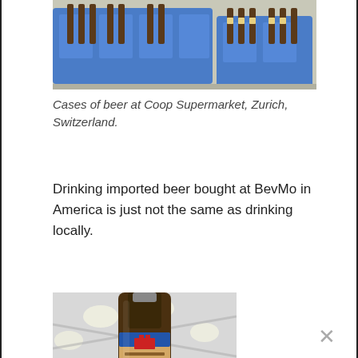[Figure (photo): Cases of beer bottles in blue plastic crates at a supermarket]
Cases of beer at Coop Supermarket, Zurich, Switzerland.
Drinking imported beer bought at BevMo in America is just not the same as drinking locally.
[Figure (photo): Close-up of a beer bottle with a blue and brown label featuring a red logo, shot in a supermarket with ceiling lights visible in background]